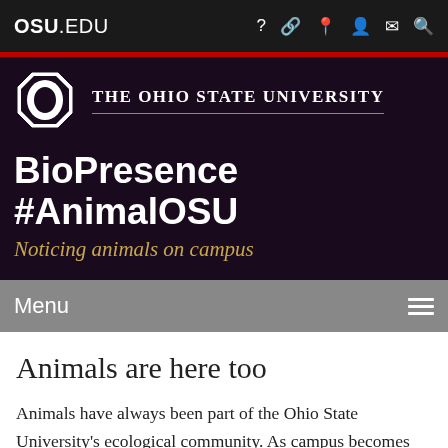OSU.EDU
[Figure (logo): The Ohio State University logo: block O in white on dark background, with university name in white serif uppercase text]
BioPresence #AnimalOSU
Noticing animals on campus
Menu
Animals are here too
Animals have always been part of the Ohio State University's ecological community. As campus becomes ever more densely populated, and a restored Olentangy River attracts more wildlife, how can we know who is here and learn better ways of sharing space with other than-human animals?